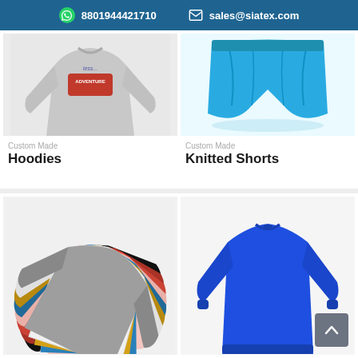8801944421710   sales@siatex.com
[Figure (photo): Gray hoodie sweatshirt with mountain adventure graphic print]
Custom Made
Hoodies
[Figure (photo): Cyan/blue knitted shorts folded]
Custom Made
Knitted Shorts
[Figure (photo): Stack of sweatshirts in multiple colors: gray, white, yellow, red, black, blue, pink]
[Figure (photo): Royal blue plain crew neck sweatshirt]